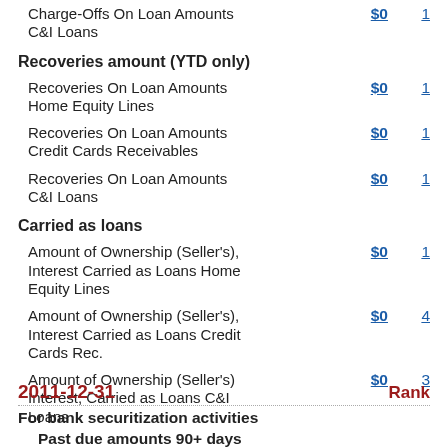Charge-Offs On Loan Amounts C&I Loans   $0   1
Recoveries amount (YTD only)
Recoveries On Loan Amounts Home Equity Lines   $0   1
Recoveries On Loan Amounts Credit Cards Receivables   $0   1
Recoveries On Loan Amounts C&I Loans   $0   1
Carried as loans
Amount of Ownership (Seller's), Interest Carried as Loans Home Equity Lines   $0   1
Amount of Ownership (Seller's), Interest Carried as Loans Credit Cards Rec.   $0   4
Amount of Ownership (Seller's) Interest, Carried as Loans C&I Loans   $0   3
2011-12-31   Rank
For bank securitization activities
Past due amounts 90+ days